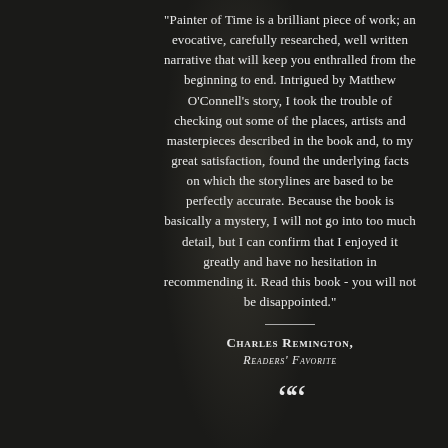"Painter of Time is a brilliant piece of work; an evocative, carefully researched, well written narrative that will keep you enthralled from the beginning to end. Intrigued by Matthew O'Connell's story, I took the trouble of checking out some of the places, artists and masterpieces described in the book and, to my great satisfaction, found the underlying facts on which the storylines are based to be perfectly accurate. Because the book is basically a mystery, I will not go into too much detail, but I can confirm that I enjoyed it greatly and have no hesitation in recommending it. Read this book - you will not be disappointed."
Charles Remington, Readers' Favorite
““